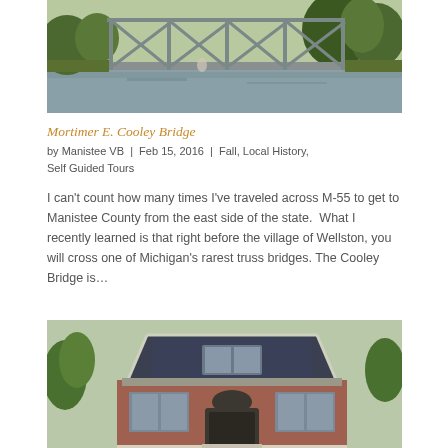[Figure (photo): Metal truss bridge (Mortimer E. Cooley Bridge) over a river, viewed from below/side angle, surrounded by green trees]
Mortimer E. Cooley Bridge
by Manistee VB  |  Feb 15, 2016  |  Fall, Local History, Self Guided Tours
I can't count how many times I've traveled across M-55 to get to Manistee County from the east side of the state.  What I recently learned is that right before the village of Wellston, you will cross one of Michigan's rarest truss bridges. The Cooley Bridge is…
[Figure (photo): Victorian-style house with brick lower half, decorative shingle siding in the gable, white trim, and large front windows]